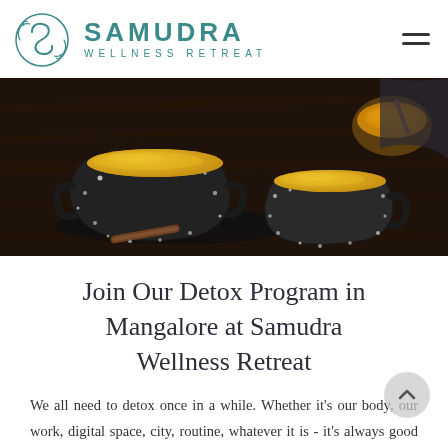[Figure (logo): Samudra Wellness Retreat logo with teal circular 's' emblem and brand name text]
[Figure (photo): Two black speckled ceramic bowls/cups filled with golden turmeric milk (golden latte) on a dark wooden surface, with a bowl of turmeric spice in the background]
Join Our Detox Program in Mangalore at Samudra Wellness Retreat
We all need to detox once in a while. Whether it's our body, our work, digital space, city, routine, whatever it is - it's always good to take a step back, relax, take a deep breath and move forward. Samudra Wellness